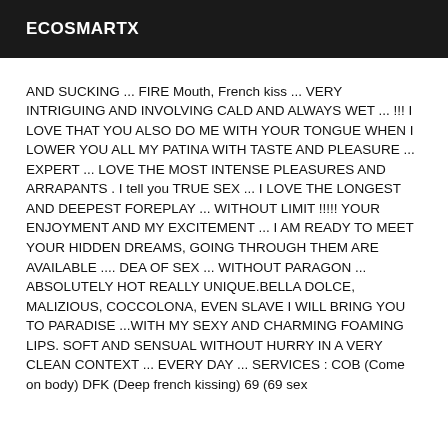ECOSMARTX
AND SUCKING ... FIRE Mouth, French kiss ... VERY INTRIGUING AND INVOLVING CALD AND ALWAYS WET ... !!! I LOVE THAT YOU ALSO DO ME WITH YOUR TONGUE WHEN I LOWER YOU ALL MY PATINA WITH TASTE AND PLEASURE ... EXPERT ... LOVE THE MOST INTENSE PLEASURES AND ARRAPANTS . I tell you TRUE SEX ... I LOVE THE LONGEST AND DEEPEST FOREPLAY ... WITHOUT LIMIT !!!!! YOUR ENJOYMENT AND MY EXCITEMENT ... I AM READY TO MEET YOUR HIDDEN DREAMS, GOING THROUGH THEM ARE AVAILABLE .... DEA OF SEX ... WITHOUT PARAGON ... ABSOLUTELY HOT REALLY UNIQUE.BELLA DOLCE, MALIZIOUS, COCCOLONA, EVEN SLAVE I WILL BRING YOU TO PARADISE ...WITH MY SEXY AND CHARMING FOAMING LIPS. SOFT AND SENSUAL WITHOUT HURRY IN A VERY CLEAN CONTEXT ... EVERY DAY ... SERVICES : COB (Come on body) DFK (Deep french kissing) 69 (69 sex